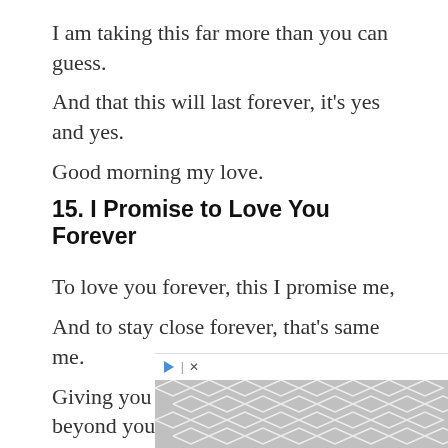I am taking this far more than you can guess.
And that this will last forever, it's yes and yes.
Good morning my love.
15. I Promise to Love You Forever
To love you forever, this I promise me,
And to stay close forever, that's same me.
Giving you romantic moments, beyond your guess
That also I want to do, throughout my years.
Good morning my love.
[Figure (other): Advertisement banner with geometric chevron/hexagon pattern in gray and white, with play and close controls]